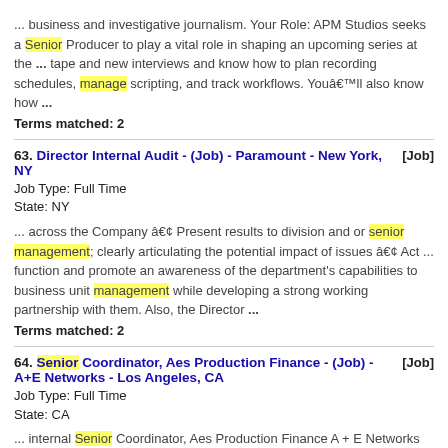... business and investigative journalism. Your Role: APM Studios seeks a Senior Producer to play a vital role in shaping an upcoming series at the ... tape and new interviews and know how to plan recording schedules, manage scripting, and track workflows. Youâ€™ll also know how ...
Terms matched: 2
63. Director Internal Audit - (Job) - Paramount - New York, NY [Job]
Job Type: Full Time
State: NY
... across the Company â€¢ Present results to division and or senior management; clearly articulating the potential impact of issues â€¢ Act ... function and promote an awareness of the department's capabilities to business unit management while developing a strong working partnership with them. Also, the Director ...
Terms matched: 2
64. Senior Coordinator, Aes Production Finance - (Job) - A+E Networks - Los Angeles, CA [Job]
Job Type: Full Time
State: CA
... internal Senior Coordinator, Aes Production Finance A + E Networks Los Angeles, CA Posted: August 15, 2022 more jobs like this ... drive our bottom line. We not only forecast, build and manage budgets, we also collect and analyze important data that helps leadership make ...
Terms matched: 2